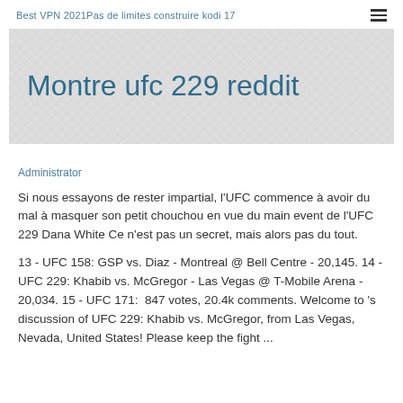Best VPN 2021Pas de limites construire kodi 17
Montre ufc 229 reddit
Administrator
Si nous essayons de rester impartial, l'UFC commence à avoir du mal à masquer son petit chouchou en vue du main event de l'UFC 229 Dana White Ce n'est pas un secret, mais alors pas du tout.
13 - UFC 158: GSP vs. Diaz - Montreal @ Bell Centre - 20,145. 14 - UFC 229: Khabib vs. McGregor - Las Vegas @ T-Mobile Arena - 20,034. 15 - UFC 171:  847 votes, 20.4k comments. Welcome to 's discussion of UFC 229: Khabib vs. McGregor, from Las Vegas, Nevada, United States! Please keep the fight ...